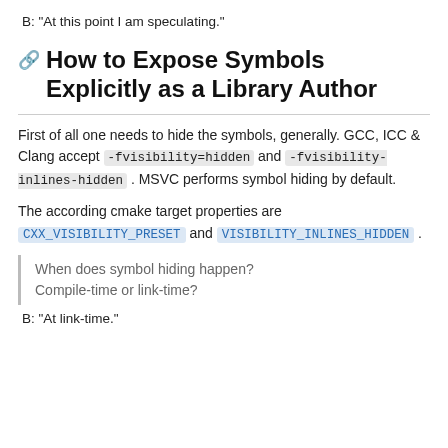B: "At this point I am speculating."
How to Expose Symbols Explicitly as a Library Author
First of all one needs to hide the symbols, generally. GCC, ICC & Clang accept -fvisibility=hidden and -fvisibility-inlines-hidden . MSVC performs symbol hiding by default.
The according cmake target properties are CXX_VISIBILITY_PRESET and VISIBILITY_INLINES_HIDDEN .
When does symbol hiding happen? Compile-time or link-time?
B: "At link-time."